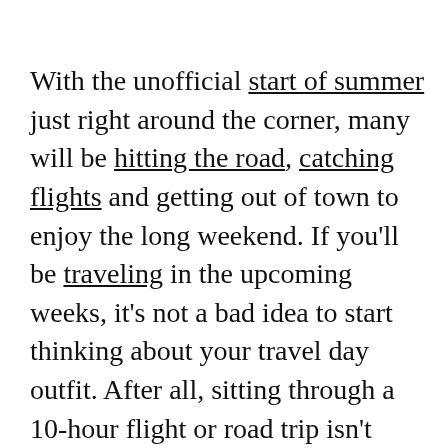With the unofficial start of summer just right around the corner, many will be hitting the road, catching flights and getting out of town to enjoy the long weekend. If you'll be traveling in the upcoming weeks, it's not a bad idea to start thinking about your travel day outfit. After all, sitting through a 10-hour flight or road trip isn't exactly the definition of comfortable.
Fortunately, finding an outfit that you can wear comfortably all day long is possible with Amazon. You can even see which styles are currently trending…